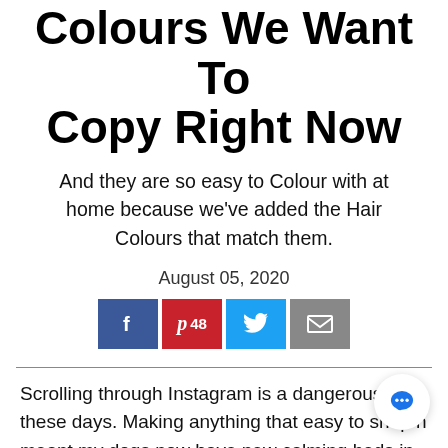Colours We Want To Copy Right Now
And they are so easy to Colour with at home because we've added the Hair Colours that match them.
August 05, 2020
[Figure (infographic): Social share buttons: Facebook, Pinterest (48 saves), Twitter, Email]
Scrolling through Instagram is a dangerous game these days. Making anything that easy to shop has meant my dogs now have new calming beds in addition